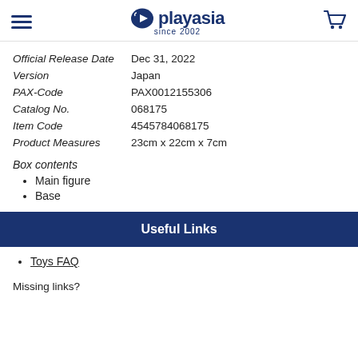playasia since 2002
Official Release Date  Dec 31, 2022
Version  Japan
PAX-Code  PAX0012155306
Catalog No.  068175
Item Code  4545784068175
Product Measures  23cm x 22cm x 7cm
Box contents
Main figure
Base
Useful Links
Toys FAQ
Missing links?